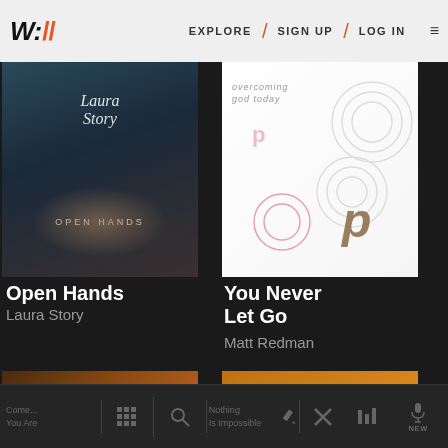W:// EXPLORE / SIGN UP / LOG IN
[Figure (screenshot): Album art for Open Hands by Laura Story — dark teal/blue photo of woman with open hands]
[Figure (screenshot): Album art for You Never Let Go by Matt Redman — white background with pink swirls and P logo]
Open Hands
Laura Story
You Never Let Go
Matt Redman
[Figure (screenshot): Album art for Passion: Take It All — colorful swirling orange/teal geometric pattern with P logo]
[Figure (screenshot): Album art for Nothing Is Impossible by Planetshakers — orange/yellow background with bold black text]
Come... You Are / Nothing Is Impossible — navigation bar with icons